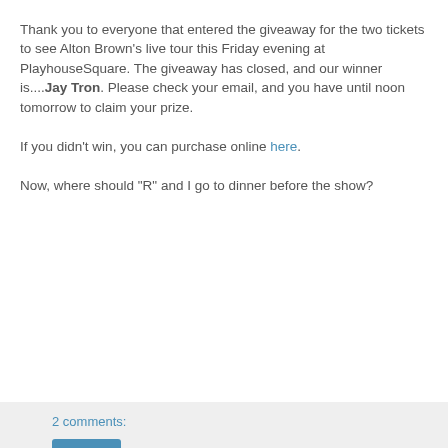Thank you to everyone that entered the giveaway for the two tickets to see Alton Brown's live tour this Friday evening at PlayhouseSquare. The giveaway has closed, and our winner is....Jay Tron. Please check your email, and you have until noon tomorrow to claim your prize.

If you didn't win, you can purchase online here.

Now, where should "R" and I go to dinner before the show?
2 comments:
Share
Home
View web version
Powered by Blogger.